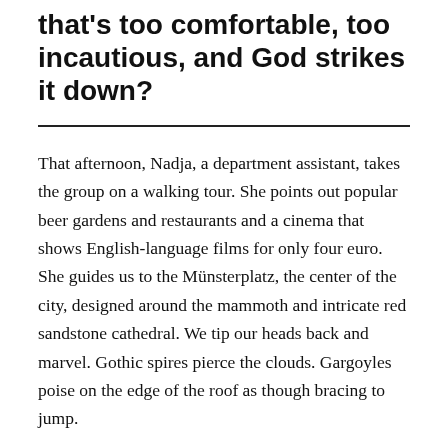that's too comfortable, too incautious, and God strikes it down?
That afternoon, Nadja, a department assistant, takes the group on a walking tour. She points out popular beer gardens and restaurants and a cinema that shows English-language films for only four euro. She guides us to the Münsterplatz, the center of the city, designed around the mammoth and intricate red sandstone cathedral. We tip our heads back and marvel. Gothic spires pierce the clouds. Gargoyles poise on the edge of the roof as though bracing to jump.